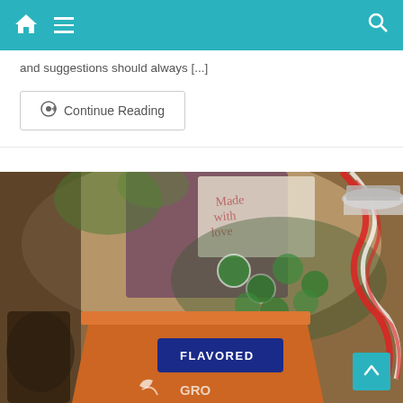Navigation bar with home icon, menu icon, and search icon
and suggestions should always [...]
Continue Reading
[Figure (photo): Close-up photograph of holiday gift basket items including an orange coffee/flavored goods bag with blue label reading 'FLAVORED', candy cane twine wrapped around a glass jar, green and white peppermint candies, and other wrapped gift items in the background.]